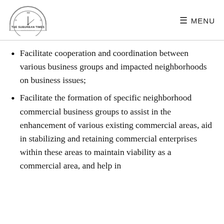The Suburban Times — MENU
Facilitate cooperation and coordination between various business groups and impacted neighborhoods on business issues;
Facilitate the formation of specific neighborhood commercial business groups to assist in the enhancement of various existing commercial areas, aid in stabilizing and retaining commercial enterprises within these areas to maintain viability as a commercial area, and help in